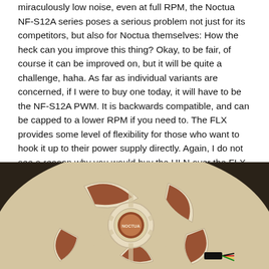miraculously low noise, even at full RPM, the Noctua NF-S12A series poses a serious problem not just for its competitors, but also for Noctua themselves: How the heck can you improve this thing? Okay, to be fair, of course it can be improved on, but it will be quite a challenge, haha. As far as individual variants are concerned, if I were to buy one today, it will have to be the NF-S12A PWM. It is backwards compatible, and can be capped to a lower RPM if you need to. The FLX provides some level of flexibility for those who want to hook it up to their power supply directly. Again, I do not see a reason why you would buy the ULN over the FLX, because you can make the FLX a ULN with the included resistor cables, but not the other way around. Either way, the choice is yours -- it is hard to argue against any of them, unless you don't like the way it looks, which is not even a real reason in my books, haha.
[Figure (photo): Close-up photograph of a Noctua NF-S12A fan showing cream/beige colored fan blades with brown/reddish-brown accent stripes and the Noctua logo badge, shot from above at an angle.]